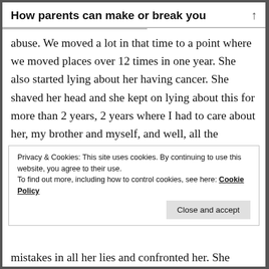How parents can make or break you
abuse. We moved a lot in that time to a point where we moved places over 12 times in one year. She also started lying about her having cancer. She shaved her head and she kept on lying about this for more than 2 years, 2 years where I had to care about her, my brother and myself, and well, all the millions of “Boy(fuck) friends” she had. Her drug abuse and fucked up mind resulted in life threatening situations many times for me and my
Privacy & Cookies: This site uses cookies. By continuing to use this website, you agree to their use.
To find out more, including how to control cookies, see here: Cookie Policy
mistakes in all her lies and confronted her. She